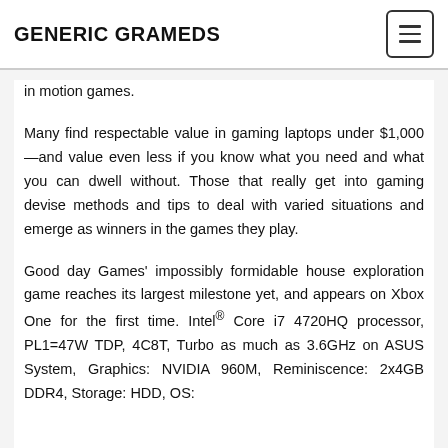GENERIC GRAMEDS
in motion games.

Many find respectable value in gaming laptops under $1,000—and value even less if you know what you need and what you can dwell without. Those that really get into gaming devise methods and tips to deal with varied situations and emerge as winners in the games they play.

Good day Games' impossibly formidable house exploration game reaches its largest milestone yet, and appears on Xbox One for the first time. Intel® Core i7 4720HQ processor, PL1=47W TDP, 4C8T, Turbo as much as 3.6GHz on ASUS System, Graphics: NVIDIA 960M, Reminiscence: 2x4GB DDR4, Storage: HDD, OS: